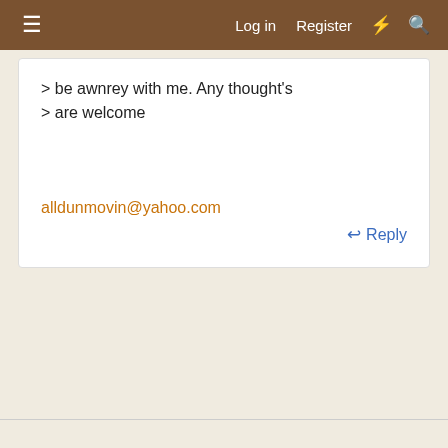≡  Log in   Register
> be awnrey with me. Any thought's
> are welcome
alldunmovin@yahoo.com
↩ Reply